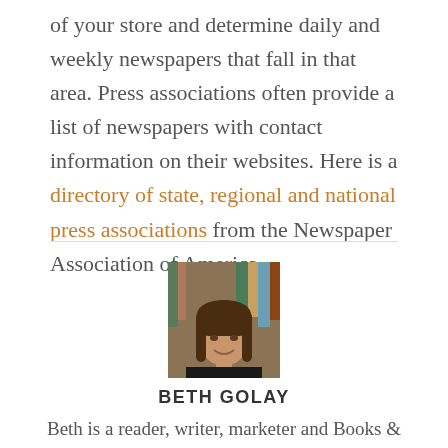of your store and determine daily and weekly newspapers that fall in that area. Press associations often provide a list of newspapers with contact information on their websites. Here is a directory of state, regional and national press associations from the Newspaper Association of America.
[Figure (photo): Headshot of Beth Golay, a woman with brown hair, smiling, with bookshelves in the background]
BETH GOLAY
Beth is a reader, writer, marketer and Books & Whatnot founder. Even though she knows better, she's a sucker for a good book cover